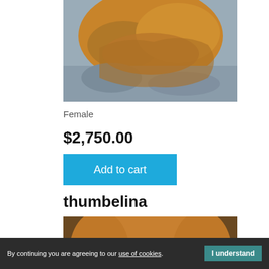[Figure (photo): Close-up photo of a golden/brown fluffy dog resting on a grey blanket, viewed from above]
Female
$2,750.00
Add to cart
thumbelina
[Figure (photo): Close-up portrait photo of a fluffy golden/brown dog looking at the camera]
By continuing you are agreeing to our use of cookies. I understand